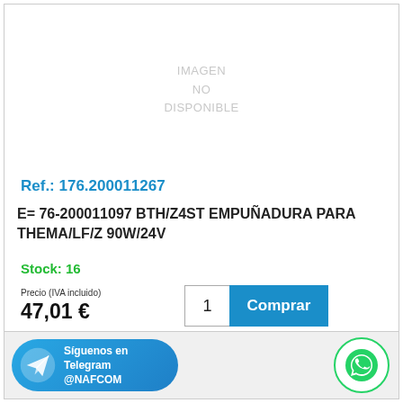[Figure (other): Product image placeholder showing 'IMAGEN NO DISPONIBLE' text]
Ref.: 176.200011267
E= 76-200011097 BTH/Z4ST EMPUÑADURA PARA THEMA/LF/Z 90W/24V
Stock: 16
Precio (IVA incluido)
47,01 €
Síguenos en Telegram @NAFCOM